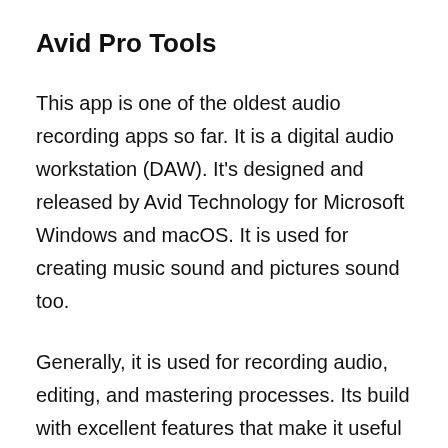Avid Pro Tools
This app is one of the oldest audio recording apps so far. It is a digital audio workstation (DAW). It's designed and released by Avid Technology for Microsoft Windows and macOS. It is used for creating music sound and pictures sound too.
Generally, it is used for recording audio, editing, and mastering processes. Its build with excellent features that make it useful for its user.